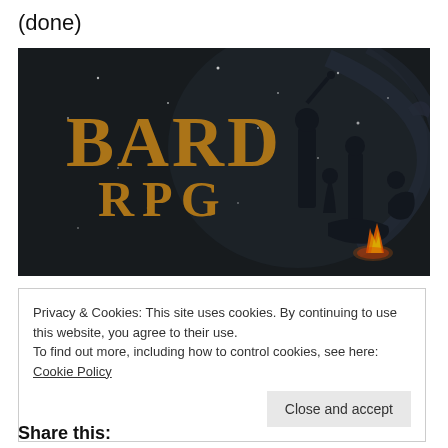(done)
[Figure (illustration): BARD RPG game banner image with dark background showing silhouettes of fantasy characters around a campfire, with orange decorative BARD RPG logo text on the left]
Privacy & Cookies: This site uses cookies. By continuing to use this website, you agree to their use.
To find out more, including how to control cookies, see here: Cookie Policy
Close and accept
Share this: